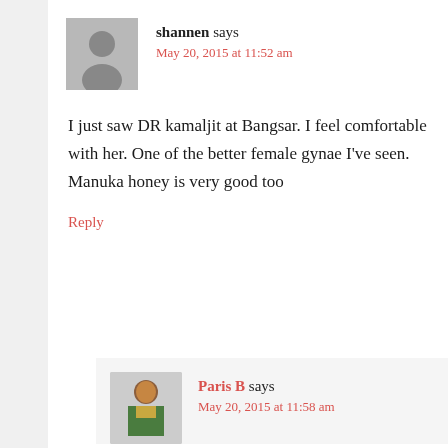shannen says
May 20, 2015 at 11:52 am
I just saw DR kamaljit at Bangsar. I feel comfortable with her. One of the better female gynae I've seen. Manuka honey is very good too
Reply
[Figure (photo): Avatar photo of Paris B commenter]
Paris B says
May 20, 2015 at 11:58 am